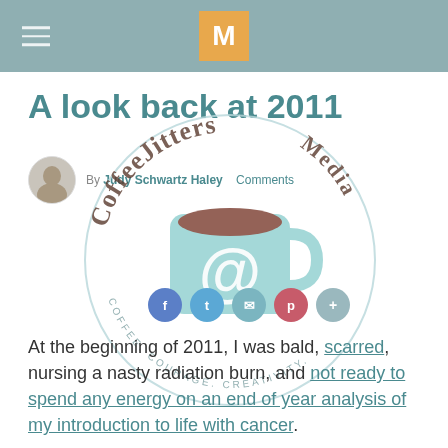M
A look back at 2011
By Judy Schwartz Haley · Comments
[Figure (logo): CoffeeJitters Media circular logo featuring a teal coffee mug with an @ symbol, surrounded by text reading 'CoffeeJitters Media' and 'Coffee. Courage. Creativity.']
At the beginning of 2011, I was bald, scarred, nursing a nasty radiation burn, and not ready to spend any energy on an end of year analysis of my introduction to life with cancer.